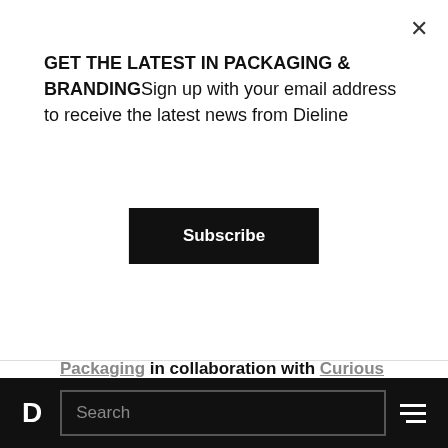GET THE LATEST IN PACKAGING & BRANDINGSign up with your email address to receive the latest news from Dieline
Subscribe
Designd by Mat Bogust, THINK Packaging in collaboration with Curious Design Illustration by Beck Wheeler
[Figure (illustration): Partial view of a product packaging illustration with a teal/green logo graphic on a light background]
D  Search  ≡